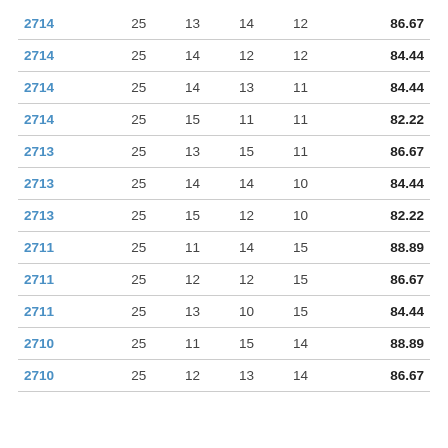| 2714 | 25 | 13 | 14 | 12 | 86.67 |
| 2714 | 25 | 14 | 12 | 12 | 84.44 |
| 2714 | 25 | 14 | 13 | 11 | 84.44 |
| 2714 | 25 | 15 | 11 | 11 | 82.22 |
| 2713 | 25 | 13 | 15 | 11 | 86.67 |
| 2713 | 25 | 14 | 14 | 10 | 84.44 |
| 2713 | 25 | 15 | 12 | 10 | 82.22 |
| 2711 | 25 | 11 | 14 | 15 | 88.89 |
| 2711 | 25 | 12 | 12 | 15 | 86.67 |
| 2711 | 25 | 13 | 10 | 15 | 84.44 |
| 2710 | 25 | 11 | 15 | 14 | 88.89 |
| 2710 | 25 | 12 | 13 | 14 | 86.67 |